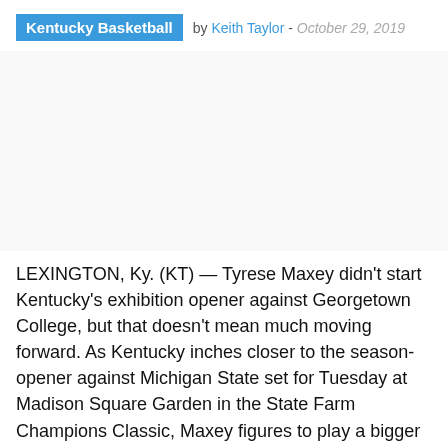Kentucky Basketball by Keith Taylor - October 29, 2019
[Figure (other): Advertisement or empty space placeholder]
LEXINGTON, Ky. (KT) — Tyrese Maxey didn't start Kentucky's exhibition opener against Georgetown College, but that doesn't mean much moving forward. As Kentucky inches closer to the season-opener against Michigan State set for Tuesday at Madison Square Garden in the State Farm Champions Classic, Maxey figures to play a bigger role.